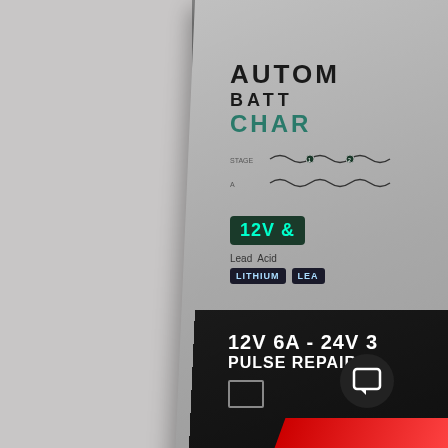[Figure (photo): Photograph of a battery charger product box at an angle. The top silver/gray portion shows partial text: 'AUTOM' (AUTOMATIC), 'BATT' (BATTERY), 'CHAR' (CHARGER), a charging stage diagram, '12V&' (12V & 24V), 'Lead Acid', 'LITHIUM' and 'LEA' (LEAD) type badges. The bottom black portion shows '12V 6A - 24V' and 'PULSE REPAIR' text in white. A chat/message icon overlay is visible at bottom right.]